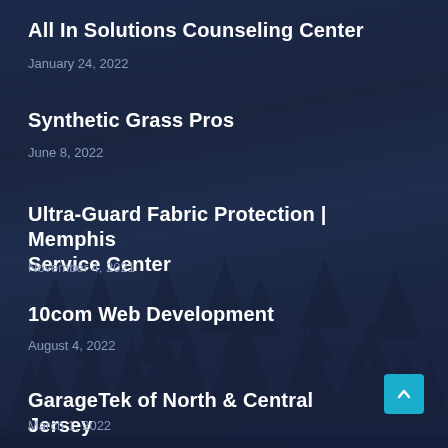All In Solutions Counseling Center
January 24, 2022
Synthetic Grass Pros
June 8, 2022
Ultra-Guard Fabric Protection | Memphis Service Center
November 4, 2021
10com Web Development
August 4, 2022
GarageTek of North & Central Jersey
March 1, 2022